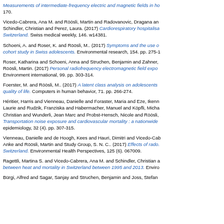Measurements of intermediate-frequency electric and magnetic fields in ho... 170.
Vicedo-Cabrera, Ana M. and Röösli, Martin and Radovanovic, Dragana and Schindler, Christian and Perez, Laura. (2017) Cardiorespiratory hospitalisa... Switzerland. Swiss medical weekly, 146. w14381.
Schoeni, A. and Roser, K. and Röösli, M.. (2017) Symptoms and the use o... cohort study in Swiss adolescents. Environmental research, 154. pp. 275-...
Roser, Katharina and Schoeni, Anna and Struchen, Benjamin and Zahner, ... Röösli, Martin. (2017) Personal radiofrequency electromagnetic field expo... Environment international, 99. pp. 303-314.
Foerster, M. and Röösli, M.. (2017) A latent class analysis on adolescents... quality of life. Computers in human behavior, 71. pp. 266-274.
Héritier, Harris and Vienneau, Danielle and Foraster, Maria and Eze, Ikenn... Laurie and Rudzik, Franziska and Habermacher, Manuel and Köpfli, Micha... Christian and Wunderli, Jean Marc and Probst-Hensch, Nicole and Röösli,... Transportation noise exposure and cardiovascular mortality : a nationwide... epidemiology, 32 (4). pp. 307-315.
Vienneau, Danielle and de Hoogh, Kees and Hauri, Dimitri and Vicedo-Ca... Anke and Röösli, Martin and Study Group, S. N. C.. (2017) Effects of rado... Switzerland. Environmental Health Perspectives, 125 (6). 067009.
Ragettli, Martina S. and Vicedo-Cabrera, Ana M. and Schindler, Christian a... between heat and mortality in Switzerland between 1995 and 2013. Enviro...
Bürgi, Alfred and Sagar, Sanjay and Struchen, Benjamin and Joss, Stefan...